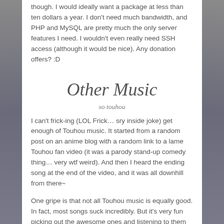though. I would ideally want a package at less than ten dollars a year. I don't need much bandwidth, and PHP and MySQL are pretty much the only server features I need. I wouldn't even really need SSH access (although it would be nice). Any donation offers? :D
Other Music
so touhou
I can't frick-ing (LOL Frick… sry inside joke) get enough of Touhou music. It started from a random post on an anime blog with a random link to a lame Touhou fan video (it was a parody stand-up comedy thing… very wtf weird). And then I heard the ending song at the end of the video, and it was all downhill from there~
One gripe is that not all Touhou music is equally good. In fact, most songs suck incredibly. But it's very fun picking out the awesome ones and listening to them on repeat for five hours.
The Touhou characters and the setting of Gensokyo is also extremely compelling. I read one of the mangas,